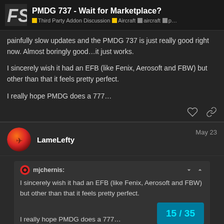PMDG 737 - Wait for Marketplace? | Third Party Addon Discussion | Aircraft | aircraft | p...
painfully slow updates and the PMDG 737 is just really good right now. Almost boringly good...it just works.

I sincerely wish it had an EFB (like Fenix, Aerosoft and FBW) but other than that it feels pretty perfect.

I really hope PMDG does a 777…
LameLefty — May 23
mjchernis: I sincerely wish it had an EFB (like Fenix, Aerosoft and FBW) but other than that it feels pretty perfect.

I really hope PMDG does a 777…
15 / 35